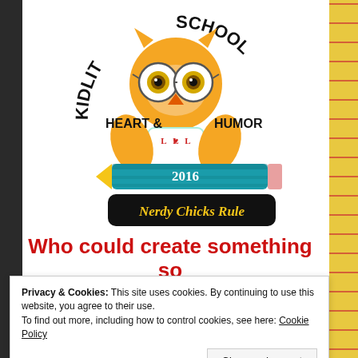[Figure (logo): Kidlit School logo featuring a cartoon owl with glasses wearing a shirt that says 'LOL' with a heart, surrounded by text 'HEART & HUMOR', holding a pencil with '2016' on it, and a black banner reading 'Nerdy Chicks Rule' in gold script. Circular text at top reads 'KIDLIT SCHOOL'.]
Who could create something so
Privacy & Cookies: This site uses cookies. By continuing to use this website, you agree to their use.
To find out more, including how to control cookies, see here: Cookie Policy
Close and accept